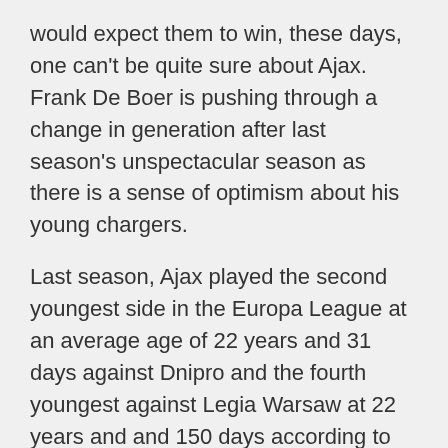would expect them to win, these days, one can't be quite sure about Ajax. Frank De Boer is pushing through a change in generation after last season's unspectacular season as there is a sense of optimism about his young chargers.
Last season, Ajax played the second youngest side in the Europa League at an average age of 22 years and 31 days against Dnipro and the fourth youngest against Legia Warsaw at 22 years and and 150 days according to Opta. In the Champions League qualifying stage, they took it a noch lower by playing a side with an average age of 21 years in the second leg of the match against Austria Wien. According, to the influential Johan Cruyff, this is the next step in their progress as a football club.
“At first the focus was on preparing youth players for the first team as quickly as possible. And because this has to